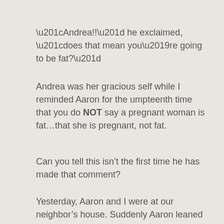“Andrea!!” he exclaimed, “does that mean you’re going to be fat?”
Andrea was her gracious self while I reminded Aaron for the umpteenth time that you do NOT say a pregnant woman is fat…that she is pregnant, not fat.
Can you tell this isn’t the first time he has made that comment?
Yesterday, Aaron and I were at our neighbor’s house. Suddenly Aaron leaned in to say something to Amanda while he softly rubbed his hands together.
“My sister has a baby in her stomach,” he slowly